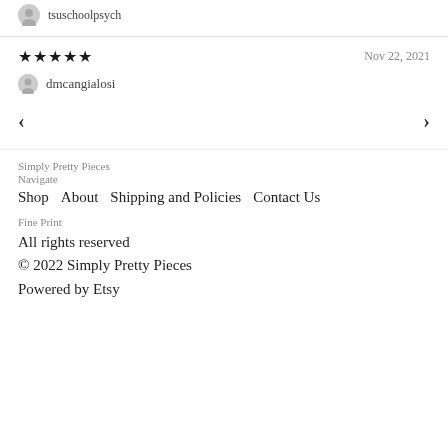tsuschoolpsych
★★★★★   Nov 22, 2021
dmcangialosi
< >
Simply Pretty Pieces
Navigate
Shop   About   Shipping and Policies   Contact Us
Fine Print
All rights reserved
© 2022 Simply Pretty Pieces
Powered by Etsy